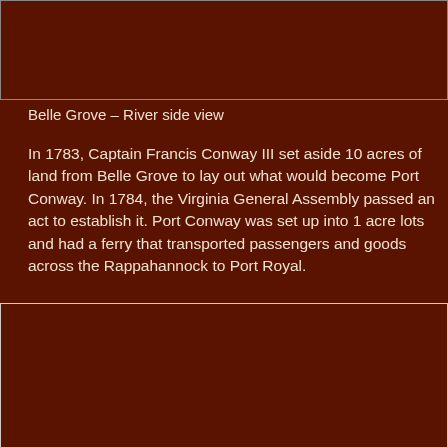[Figure (photo): Top portion of a photo of Belle Grove – River side view, partially visible at top of page]
Belle Grove – River side view
In 1783, Captain Francis Conway III set aside 10 acres of land from Belle Grove to lay out what would become Port Conway. In 1784, the Virginia General Assembly passed an act to establish it. Port Conway was set up into 1 acre lots and had a ferry that transported passengers and goods across the Rappahannock to Port Royal.
[Figure (photo): A photo placeholder (broken image) of a river side view scene, dark brown background]